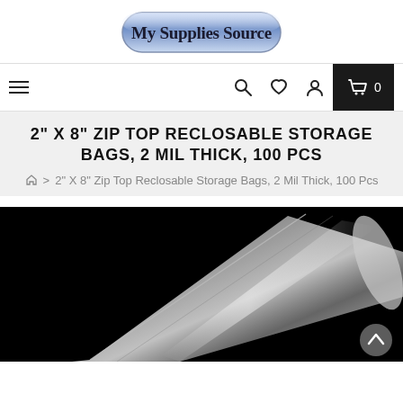[Figure (logo): My Supplies Source logo with metallic blue/silver rounded rectangle background and dark text]
Navigation bar with hamburger menu, search icon, heart/wishlist icon, user icon, and shopping cart with 0 items
2" X 8" ZIP TOP RECLOSABLE STORAGE BAGS, 2 MIL THICK, 100 PCS
🏠 > 2" X 8" Zip Top Reclosable Storage Bags, 2 Mil Thick, 100 Pcs
[Figure (photo): Product photo of a clear zip top reclosable storage bag on a black background, showing the transparent plastic bag at an angle with light reflection]